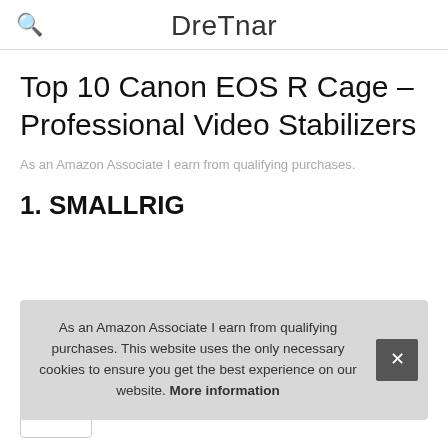DreTnar
Top 10 Canon EOS R Cage – Professional Video Stabilizers
As an Amazon Associate I earn from qualifying purchases.
1. SMALLRIG
As an Amazon Associate I earn from qualifying purchases. This website uses the only necessary cookies to ensure you get the best experience on our website. More information